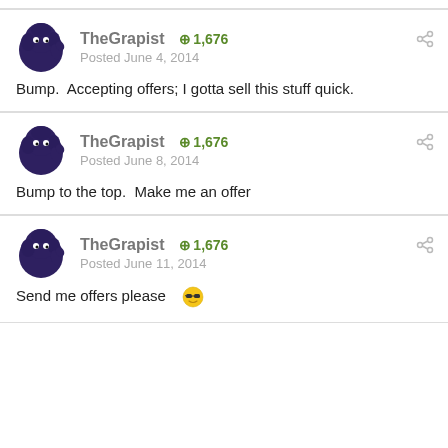TheGrapist  +1,676
Posted June 4, 2014
Bump.  Accepting offers; I gotta sell this stuff quick.
TheGrapist  +1,676
Posted June 8, 2014
Bump to the top.  Make me an offer
TheGrapist  +1,676
Posted June 11, 2014
Send me offers please 😎